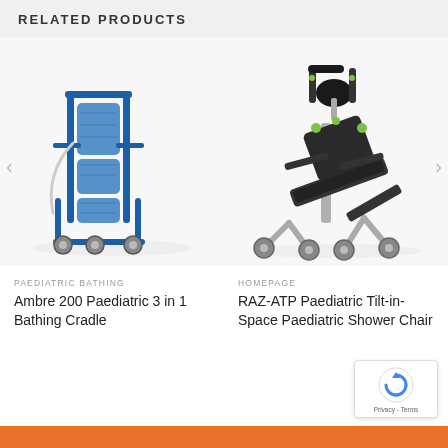RELATED PRODUCTS
[Figure (photo): Ambre 200 Paediatric 3 in 1 Bathing Cradle - blue metal frame with wheeled base and padded blue seat/backrest components]
[Figure (photo): RAZ-ATP Paediatric Tilt-in-Space Paediatric Shower Chair - silver/chrome frame with dark padded seat, tilted position, green accents, wheeled base]
PAEDIATRIC BATHING
Ambre 200 Paediatric 3 in 1 Bathing Cradle
HOMEPAGE
RAZ-ATP Paediatric Tilt-in-Space Paediatric Shower Chair